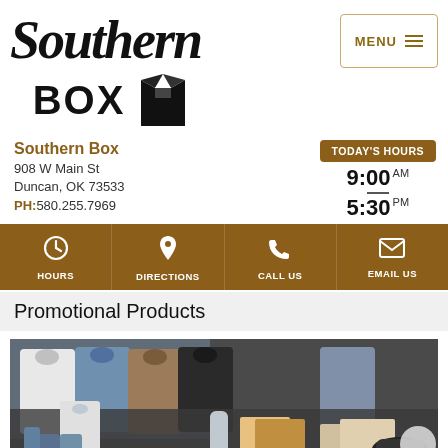[Figure (logo): Southern Box logo with cursive 'Southern' text and bold 'BOX' with open box icon]
MENU
Southern Box
908 W Main St
Duncan, OK 73533
PH:580.255.7969
TODAY'S HOURS
9:00 AM
5:30 PM
HOURS
DIRECTIONS
CALL US
EMAIL US
Promotional Products
[Figure (photo): Photo of promotional products including branded shirts, jackets, bags, mugs, water bottles, hats, notebooks and other items displayed on a table]